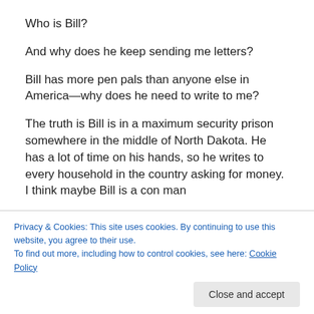Who is Bill?
And why does he keep sending me letters?
Bill has more pen pals than anyone else in America—why does he need to write to me?
The truth is Bill is in a maximum security prison somewhere in the middle of North Dakota. He has a lot of time on his hands, so he writes to every household in the country asking for money.  I think maybe Bill is a con man with a million schemes, but he just wants to write to Bill every month. Bill is a greedy man.
Privacy & Cookies: This site uses cookies. By continuing to use this website, you agree to their use.
To find out more, including how to control cookies, see here: Cookie Policy